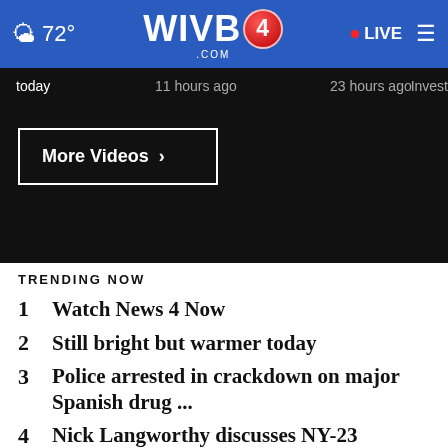72° WIVB4.COM LIVE
[Figure (screenshot): WIVB4 news website screenshot showing header with weather (72°), WIVB4 logo, LIVE button, and dark video section with timestamps 'today', '11 hours ago', '23 hours ago', 'Invest...' and a 'More Videos ›' button]
TRENDING NOW
1  Watch News 4 Now
2  Still bright but warmer today
3  Police arrested in crackdown on major Spanish drug ...
4  Nick Langworthy discusses NY-23 primary win, what's ...